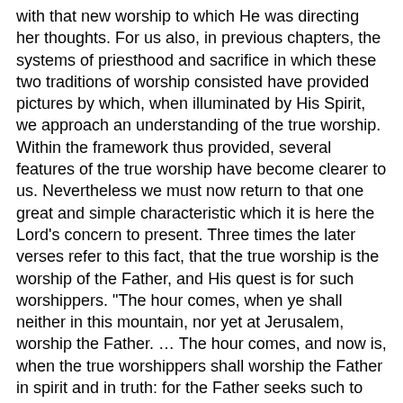with that new worship to which He was directing her thoughts. For us also, in previous chapters, the systems of priesthood and sacrifice in which these two traditions of worship consisted have provided pictures by which, when illuminated by His Spirit, we approach an understanding of the true worship. Within the framework thus provided, several features of the true worship have become clearer to us. Nevertheless we must now return to that one great and simple characteristic which it is here the Lord's concern to present. Three times the later verses refer to this fact, that the true worship is the worship of the Father, and His quest is for such worshippers. "The hour comes, when ye shall neither in this mountain, nor yet at Jerusalem, worship the Father. … The hour comes, and now is, when the true worshippers shall worship the Father in spirit and in truth: for the Father seeks such to worship Him."
In such words as these, "the hour comes," the Lord Jesus introduces things which heaven and earth, men and angels, should stop to consider. "Father, the hour is come" He said, when the hour of His cross drew near.
The hour of the cross is past, though never to be forgotten. The hour in which we live is the hour in which the Father is seeking worshippers.